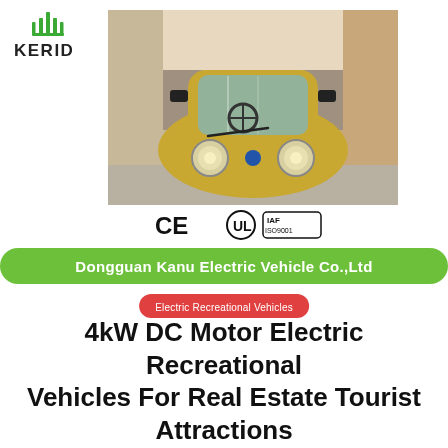[Figure (logo): KERID company logo with green crown icon above the text KERID]
[Figure (photo): Front view of a gold/yellow compact electric vehicle (golf cart style) parked on a road in front of a building]
[Figure (infographic): Certification logos: CE mark, UL mark, IAF ISO9001 mark]
Dongguan Kanu Electric Vehicle Co.,Ltd
Electric Recreational Vehicles
4kW DC Motor Electric Recreational Vehicles For Real Estate Tourist Attractions